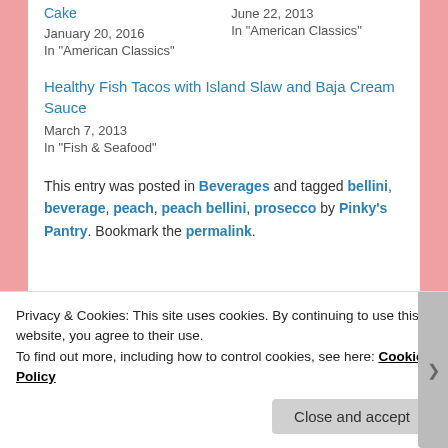Cake
January 20, 2016
In "American Classics"
June 22, 2013
In "American Classics"
Healthy Fish Tacos with Island Slaw and Baja Cream Sauce
March 7, 2013
In "Fish & Seafood"
This entry was posted in Beverages and tagged bellini, beverage, peach, peach bellini, prosecco by Pinky's Pantry. Bookmark the permalink.
Leave a Reply
Privacy & Cookies: This site uses cookies. By continuing to use this website, you agree to their use.
To find out more, including how to control cookies, see here: Cookie Policy
Close and accept